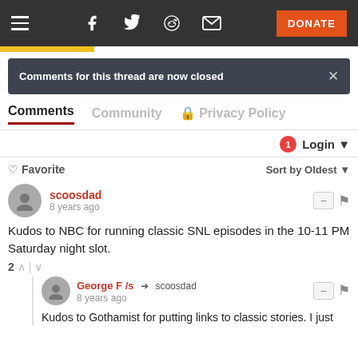Navigation bar with hamburger menu, Facebook, Twitter, Reddit, email icons, and DONATE button
Comments for this thread are now closed
Comments  Community  Privacy Policy
Login
Favorite  Sort by Oldest
scoosdad
8 years ago
Kudos to NBC for running classic SNL episodes in the 10-11 PM Saturday night slot.
George F /s → scoosdad
8 years ago
Kudos to Gothamist for putting links to classic stories. I just